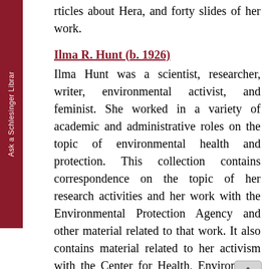rticles about Hera, and forty slides of her work.
Ilma R. Hunt (b. 1926)
Ilma Hunt was a scientist, researcher, writer, environmental activist, and feminist. She worked in a variety of academic and administrative roles on the topic of environmental health and protection. This collection contains correspondence on the topic of her research activities and her work with the Environmental Protection Agency and other material related to that work. It also contains material related to her activism with the Center for Health, Environment and